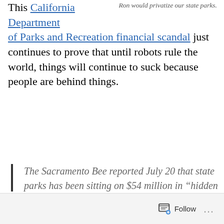This California Department of Parks and Recreation financial scandal just continues to prove that until robots rule the world, things will continue to suck because people are behind things.
Ron would privatize our state parks.
The Sacramento Bee reported July 20 that state parks has been sitting on $54 million in “hidden assets” for at least 12 years…The money was held in two special funds even as the agency undertook painful service reductions and park closures to achieve $22
Follow ...